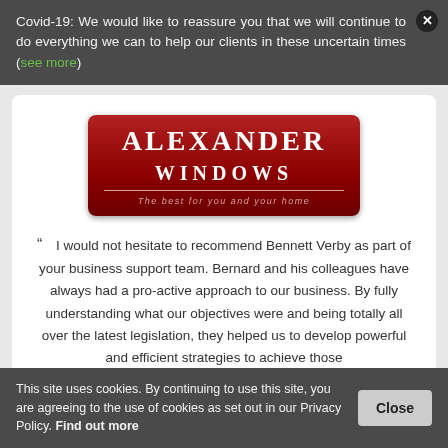Covid-19: We would like to reassure you that we will continue to do everything we can to help our clients in these uncertain times (see more)
[Figure (logo): Alexander Windows logo — dark red rounded rectangle with white serif text reading ALEXANDER on top and WINDOWS below, with tagline 'The best for you and your home']
" I would not hesitate to recommend Bennett Verby as part of your business support team. Bernard and his colleagues have always had a pro-active approach to our business. By fully understanding what our objectives were and being totally all over the latest legislation, they helped us to develop powerful and efficient strategies to achieve those
This site uses cookies. By continuing to use this site, you are agreeing to the use of cookies as set out in our Privacy Policy. Find out more